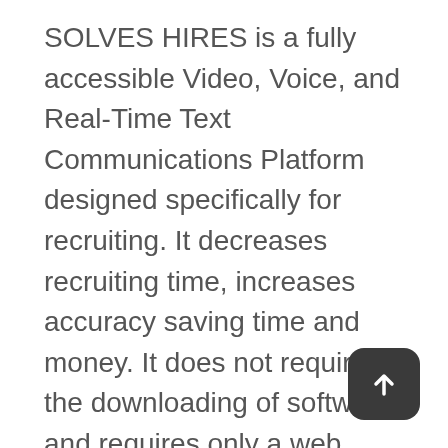SOLVES HIRES is a fully accessible Video, Voice, and Real-Time Text Communications Platform designed specifically for recruiting. It decreases recruiting time, increases accuracy saving time and money. It does not require the downloading of software and requires only a web browser on a computer or mobile device. You have the option to collect Live Automated Video Interviews or host an online Career Fair without anyone having to travel. The interviews can be transcribed automatically to searchable text and uploaded to your candidate tracking system. Using SOLVES